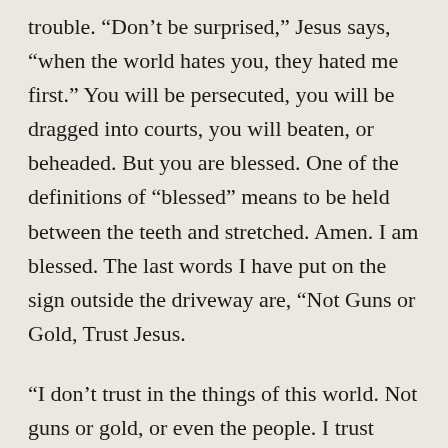trouble. “Don’t be surprised,” Jesus says, “when the world hates you, they hated me first.” You will be persecuted, you will be dragged into courts, you will beaten, or beheaded. But you are blessed. One of the definitions of “blessed” means to be held between the teeth and stretched. Amen. I am blessed. The last words I have put on the sign outside the driveway are, “Not Guns or Gold, Trust Jesus.
“I don’t trust in the things of this world. Not guns or gold, or even the people. I trust Jesus. He told me to give up the management of GHI. He didn’t say I would like it, he just said, do it. I am